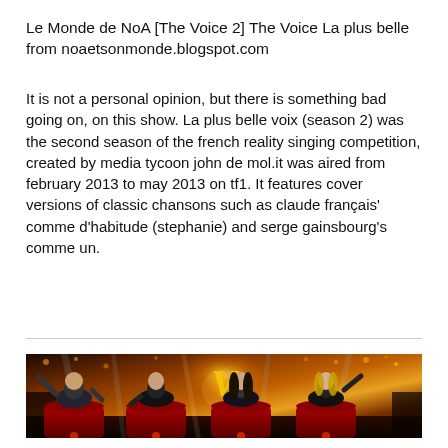Le Monde de NoA [The Voice 2] The Voice La plus belle from noaetsonmonde.blogspot.com
It is not a personal opinion, but there is something bad going on, on this show. La plus belle voix (season 2) was the second season of the french reality singing competition, created by media tycoon john de mol.it was aired from february 2013 to may 2013 on tf1. It features cover versions of classic chansons such as claude françois' comme d'habitude (stephanie) and serge gainsbourg's comme un.
[Figure (photo): Four judges of The Voice France season 2 sitting in red chairs on stage, with dramatic stage lighting, golden bokeh lights, and a large golden V logo in the background.]